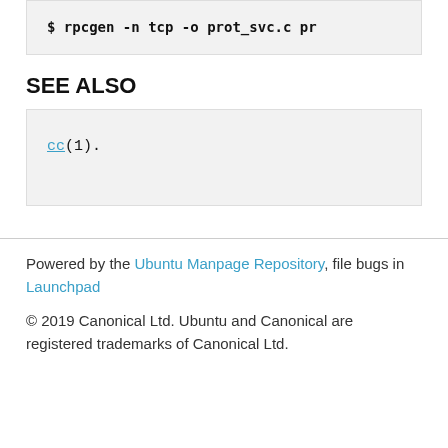$ rpcgen -n tcp -o prot_svc.c pr
SEE ALSO
cc(1).
Powered by the Ubuntu Manpage Repository, file bugs in Launchpad
© 2019 Canonical Ltd. Ubuntu and Canonical are registered trademarks of Canonical Ltd.